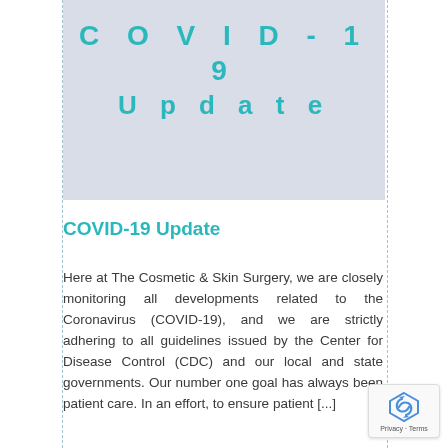[Figure (other): Banner image with light blue-grey background showing 'COVID-19 Update' text in teal/cyan spaced letters]
COVID-19 Update
Here at The Cosmetic & Skin Surgery, we are closely monitoring all developments related to the Coronavirus (COVID-19), and we are strictly adhering to all guidelines issued by the Center for Disease Control (CDC) and our local and state governments. Our number one goal has always been patient care. In an effort, to ensure patient [...]